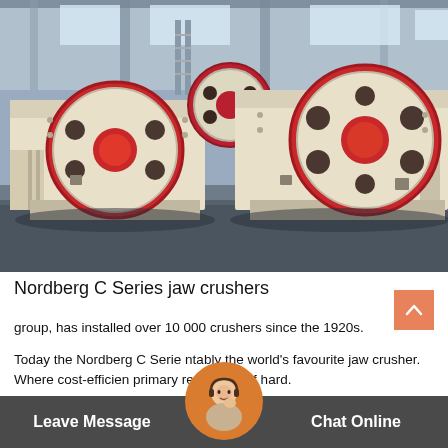[Figure (photo): Two large Nordberg C Series jaw crushers (cream/beige colored with red flywheel rims) sitting on a factory floor inside an industrial warehouse building. The machines have prominent circular flywheels with holes and red circular center hubs. Industrial steel structure visible in background.]
Nordberg C Series jaw crushers
group, has installed over 10 000 crushers since the 1920s.
Today the Nordberg C Series is reputably the world's favourite jaw crusher. Where cost-efficien... primary reduc-tion of hard.